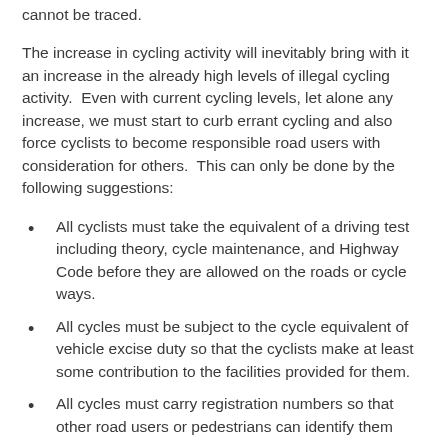cannot be traced.
The increase in cycling activity will inevitably bring with it an increase in the already high levels of illegal cycling activity.  Even with current cycling levels, let alone any increase, we must start to curb errant cycling and also force cyclists to become responsible road users with consideration for others.  This can only be done by the following suggestions:
All cyclists must take the equivalent of a driving test including theory, cycle maintenance, and Highway Code before they are allowed on the roads or cycle ways.
All cycles must be subject to the cycle equivalent of vehicle excise duty so that the cyclists make at least some contribution to the facilities provided for them.
All cycles must carry registration numbers so that other road users or pedestrians can identify them